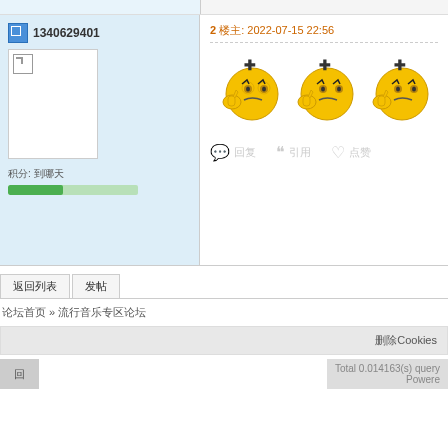1340629401
积分: 到哪天
2 楼主: 2022-07-15 22:56
[Figure (illustration): Three identical yellow angry emoji faces with thumbs up and cross marks on forehead]
回复 引用 点赞
返回列表 发帖
论坛首页 » 流行音乐专区论坛
删除Cookies
回 Total 0.014163(s) query Powered
Total 0.014163(s) query Powered